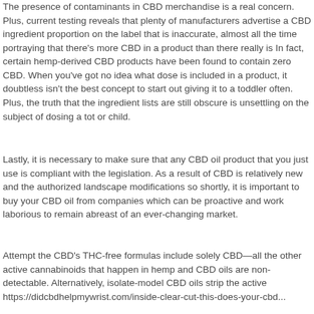The presence of contaminants in CBD merchandise is a real concern. Plus, current testing reveals that plenty of manufacturers advertise a CBD ingredient proportion on the label that is inaccurate, almost all the time portraying that there's more CBD in a product than there really is In fact, certain hemp-derived CBD products have been found to contain zero CBD. When you've got no idea what dose is included in a product, it doubtless isn't the best concept to start out giving it to a toddler often. Plus, the truth that the ingredient lists are still obscure is unsettling on the subject of dosing a tot or child.
Lastly, it is necessary to make sure that any CBD oil product that you just use is compliant with the legislation. As a result of CBD is relatively new and the authorized landscape modifications so shortly, it is important to buy your CBD oil from companies which can be proactive and work laborious to remain abreast of an ever-changing market.
Attempt the CBD's THC-free formulas include solely CBD—all the other active cannabinoids that happen in hemp and CBD oils are non-detectable. Alternatively, isolate-model CBD oils strip the active https://didcbdhelpmywrist.com/inside-clear-cut-this-does-your-cbd...